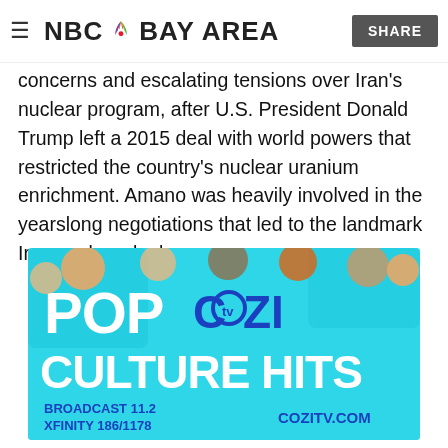NBC BAY AREA | SHARE
concerns and escalating tensions over Iran's nuclear program, after U.S. President Donald Trump left a 2015 deal with world powers that restricted the country's nuclear uranium enrichment. Amano was heavily involved in the yearslong negotiations that led to the landmark Iran nuclear deal.
[Figure (photo): Cozi TV advertisement banner showing 'POP COZI TV CULTURE HITS' with various TV show character photos, teal/blue background. Text: BROADCAST 11.2, XFINITY 186/1178, COZITV.COM]